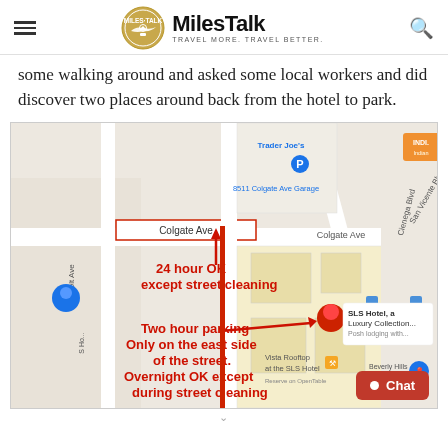MilesTalk — TRAVEL MORE. TRAVEL BETTER.
some walking around and asked some local workers and did discover two places around back from the hotel to park.
[Figure (map): Google Maps screenshot showing the area around the SLS Hotel, a Luxury Collection hotel in Beverly Hills. Colgate Ave is highlighted with a red rectangle. Two annotated arrows in red text indicate: '24 hour OK except street cleaning' pointing to Colgate Ave, and 'Two hour parking Only on the east side of the street. Overnight OK except during street cleaning' pointing to a street near the SLS Hotel. The map shows streets including S Holt Ave, Le Doux Rd, Colgate Ave, Cienega Blvd, San Vicente Blvd. 8511 Colgate Ave Garage, Trader Joe's, Vista Rooftop at the SLS Hotel, and Beverly Hills Auto Body Group are also visible.]
Chat